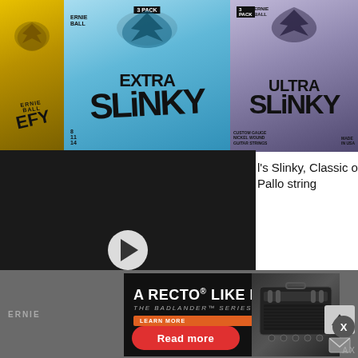[Figure (photo): Close-up photo of Ernie Ball guitar string packs: yellow Slinky, blue Extra Slinky (3-pack), and purple Ultra Slinky (3-pack) arranged side by side]
[Figure (screenshot): Video thumbnail/player showing a person playing guitar in a dark room, with a play button overlay]
l's Slinky, Classic o Pallo string
[Figure (other): Red 'Read more' button]
ERNIE
[Figure (other): Mesa/Boogie Badlander amplifier advertisement: 'A RECTO® LIKE NO OTHER - THE BADLANDER™ SERIES' with LEARN MORE button and Mesa/Boogie logo, featuring amp image on right]